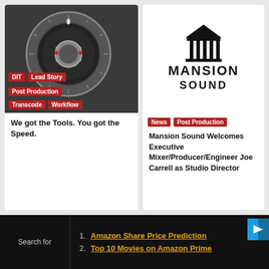[Figure (screenshot): App icon showing a dark dial/knob interface with red tags: DIT, Lead Story, Post Production, Transcode, Workflow]
DIT
Lead Story
Post Production
Transcode
Workflow
We got the Tools. You got the Speed.
[Figure (logo): Mansion Sound logo with building/pillars icon and text MANSION SOUND]
News
Post Production
Mansion Sound Welcomes Executive Mixer/Producer/Engineer Joe Carrell as Studio Director
Search for
1. Amazon Share Price Prediction
2. Top 10 Movies on Amazon Prime